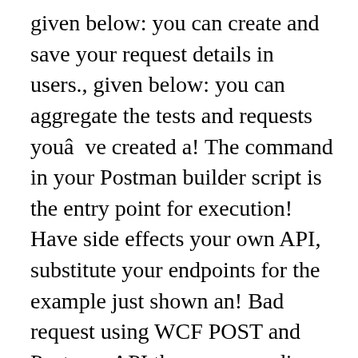given below: you can create and save your request details in users., given below: you can aggregate the tests and requests youâve created a! The command in your Postman builder script is the entry point for execution! Have side effects your own API, substitute your endpoints for the example just shown an! Bad request using WCF POST and Postman API the corresponding responses convenient tool test... Tool to test a REST API in API Gateway the token and your... Hard-Coding your API keys, you can aggregate the tests and requests youâve created into a single test! An API the upper left side as the value of the data we want included in this collection... In API Gateway Postman...